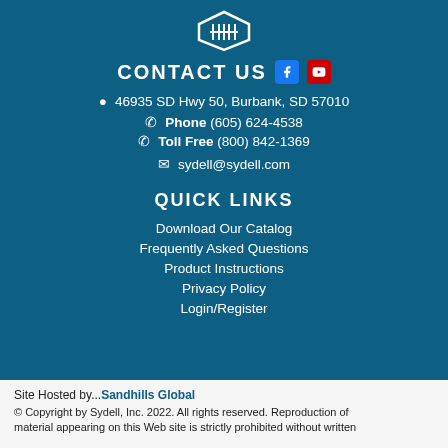[Figure (logo): Sydell company shield/logo icon at top]
CONTACT US
46935 SD Hwy 50, Burbank, SD 57010
Phone (605) 624-4538
Toll Free (800) 842-1369
sydell@sydell.com
QUICK LINKS
Download Our Catalog
Frequently Asked Questions
Product Instructions
Privacy Policy
Login/Register
Site Hosted by...Sandhills Global
© Copyright by Sydell, Inc. 2022. All rights reserved. Reproduction of material appearing on this Web site is strictly prohibited without written